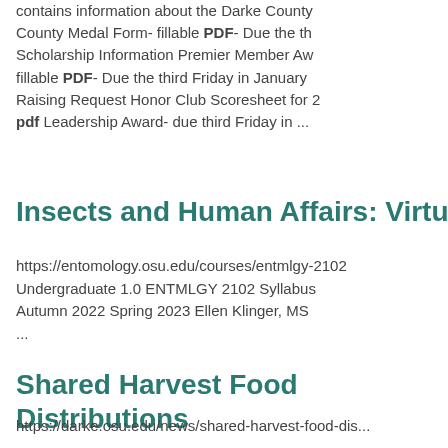contains information about the Darke County Medal Form- fillable PDF- Due the th Scholarship Information Premier Member Aw fillable PDF- Due the third Friday in January Raising Request Honor Club Scoresheet for 2 pdf Leadership Award- due third Friday in ...
Insects and Human Affairs: Virtual ...
https://entomology.osu.edu/courses/entmlgy-2102 Undergraduate 1.0 ENTMLGY 2102 Syllabus Autumn 2022 Spring 2023 Ellen Klinger, MS ...
Shared Harvest Food Distributions
https://darke.osu.edu/news/shared-harvest-food-dis...